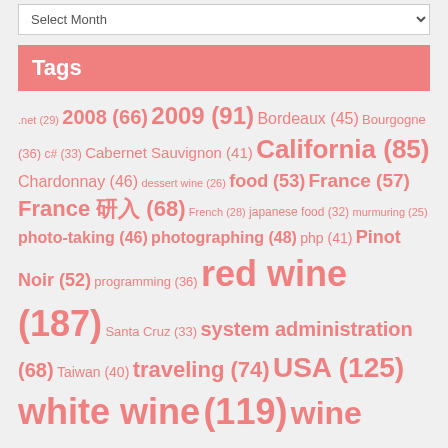Tags
.net (29) 2008 (66) 2009 (91) Bordeaux (45) Bourgogne (36) c# (33) Cabernet Sauvignon (41) California (85) Chardonnay (46) dessert wine (26) food (53) France (57) France 現地 (68) French (28) japanese food (32) murmuring (25) photo-taking (46) photographing (48) php (41) Pinot Noir (52) programming (36) red wine (187) Santa Cruz (33) system administration (68) Taiwan (40) traveling (74) USA (125) white wine (119) wine (174) wine tasting (223) ワイン (64) グルメ (39) 旅行 (29) 日本酒 (220) 日本酒ログ (93) 赤ワイン (60) 食べログ (24) 飲み歩き (31) 飲食店訪問 (37) 写真 (28) 白ワイン (115) ワインテイスティング (48) 赤ワイン (184) 白ワイン (100) グルメ (36)